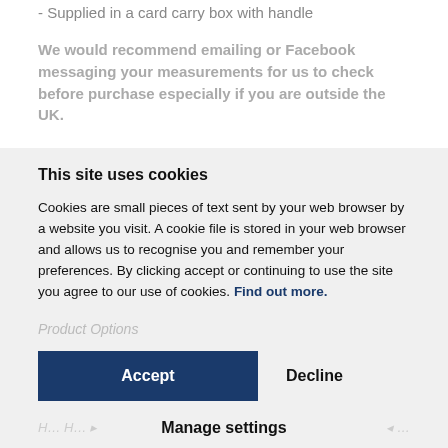- Supplied in a card carry box with handle
We would recommend emailing or Facebook messaging your measurements for us to check before purchase especially if you are outside the UK.
This site uses cookies
Cookies are small pieces of text sent by your web browser by a website you visit. A cookie file is stored in your web browser and allows us to recognise you and remember your preferences. By clicking accept or continuing to use the site you agree to our use of cookies. Find out more.
Product Options
Accept
Decline
Manage settings